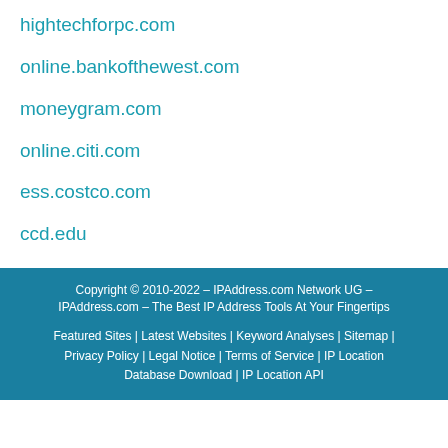hightechforpc.com
online.bankofthewest.com
moneygram.com
online.citi.com
ess.costco.com
ccd.edu
Copyright © 2010-2022 - IPAddress.com Network UG - IPAddress.com - The Best IP Address Tools At Your Fingertips
Featured Sites | Latest Websites | Keyword Analyses | Sitemap | Privacy Policy | Legal Notice | Terms of Service | IP Location Database Download | IP Location API